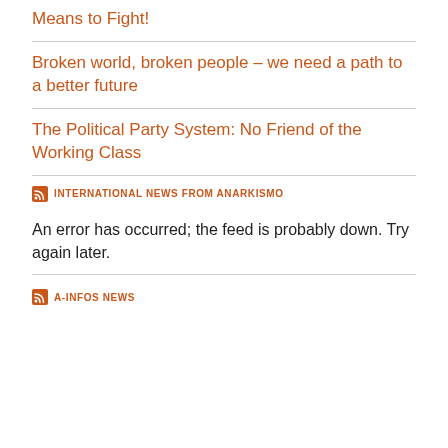Means to Fight!
Broken world, broken people – we need a path to a better future
The Political Party System: No Friend of the Working Class
INTERNATIONAL NEWS FROM ANARKISMO
An error has occurred; the feed is probably down. Try again later.
A-INFOS NEWS